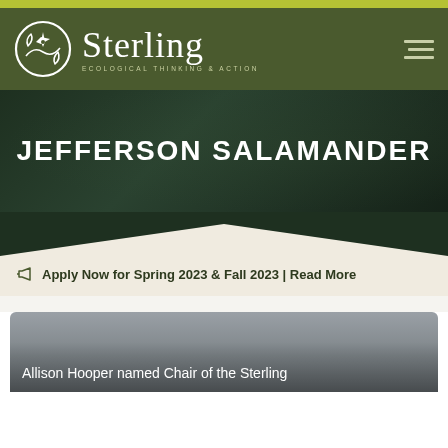[Figure (logo): Sterling College logo with circular emblem and text 'Sterling ECOLOGICAL THINKING & ACTION']
JEFFERSON SALAMANDER
Apply Now for Spring 2023 & Fall 2023 | Read More
[Figure (photo): News card with partial headline: Allison Hooper named Chair of the Sterling]